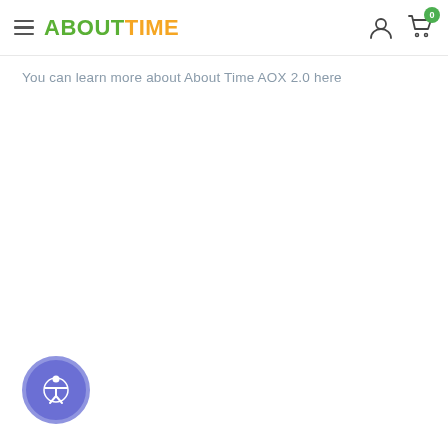ABOUTTIME — navigation bar with hamburger menu, logo, user icon, cart icon with badge 0
You can learn more about About Time AOX 2.0 here
[Figure (illustration): Accessibility widget button — circular purple button with a person/accessibility icon in white]